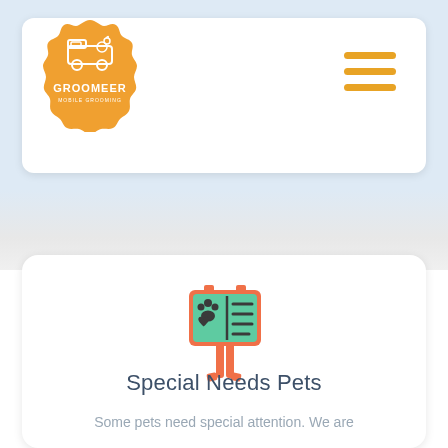[Figure (logo): Groomeer Mobile Grooming badge logo — orange scalloped circle with white line-art of a grooming van and dog, text GROOMEER and MOBILE GROOMING]
[Figure (illustration): Three horizontal orange lines forming a hamburger menu icon]
[Figure (illustration): Colorful icon of a pet information sign board — orange wooden easel frame with teal sign showing paw print, heart, and list lines]
Special Needs Pets
Some pets need special attention. We are